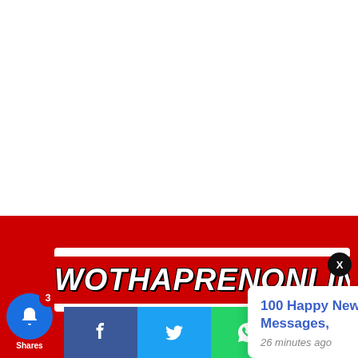[Figure (screenshot): White area (top portion of webpage screenshot)]
[Figure (logo): WOTHAPRENONLINE website logo in white italic bold text on red background]
X
100 Happy New Month September 2022 Messages,
26 minutes ago
3
Shares